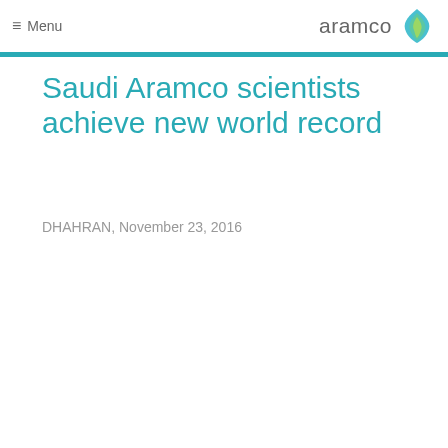≡ Menu | aramco
Saudi Aramco scientists achieve new world record
DHAHRAN, November 23, 2016